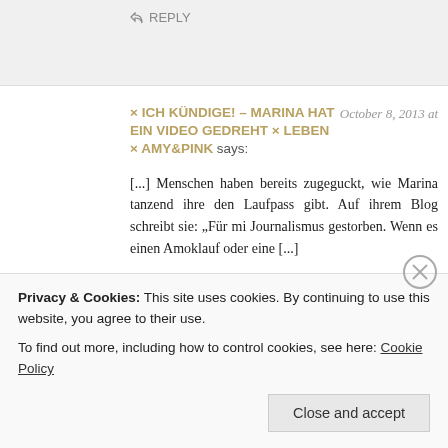↩ REPLY
× ICH KÜNDIGE! – MARINA HAT EIN VIDEO GEDREHT × LEBEN × AMY&PINK says:
October 8, 2013 at
[...] Menschen haben bereits zugeguckt, wie Marina tanzend ihre den Laufpass gibt. Auf ihrem Blog schreibt sie: „Für mi Journalismus gestorben. Wenn es einen Amoklauf oder eine [...]
↩ Reply
How to Quit Your Job via YouTube | Turned Upside Down says:
October 8, 2013 a
Privacy & Cookies: This site uses cookies. By continuing to use this website, you agree to their use.
To find out more, including how to control cookies, see here: Cookie Policy
Close and accept